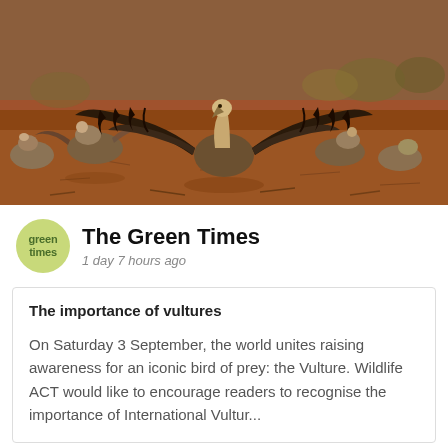[Figure (photo): A group of vultures on dry red-brown earth. One large vulture in the center has its wings spread wide open, with dark brown and black feathers. Other vultures are visible around it on the ground. Sparse dry vegetation in the background.]
The Green Times
1 day 7 hours ago
The importance of vultures
On Saturday 3 September, the world unites raising awareness for an iconic bird of prey: the Vulture. Wildlife ACT would like to encourage readers to recognise the importance of International Vultur...